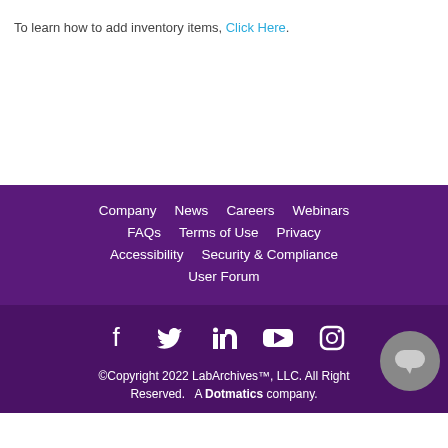To learn how to add inventory items, Click Here.
Company  News  Careers  Webinars  FAQs  Terms of Use  Privacy  Accessibility  Security & Compliance  User Forum
[Figure (infographic): Social media icons: Facebook, Twitter, LinkedIn, YouTube, Instagram]
©Copyright 2022 LabArchives™, LLC. All Right Reserved.   A Dotmatics company.